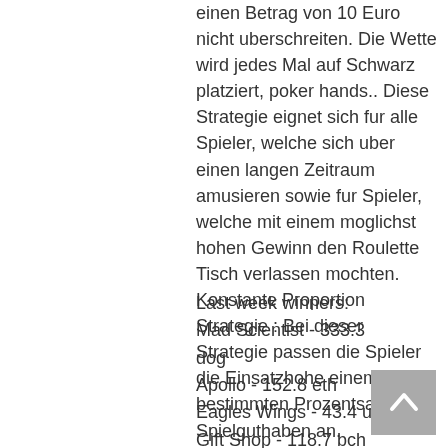einen Betrag von 10 Euro nicht uberschreiten. Die Wette wird jedes Mal auf Schwarz platziert, poker hands.. Diese Strategie eignet sich fur alle Spieler, welche sich uber einen langen Zeitraum amusieren sowie fur Spieler, welche mit einem moglichst hohen Gewinn den Roulette Tisch verlassen mochten. Konstante Proportion Strategie : Bei dieser Strategie passen die Spieler die Einsatzhohe einem bestimmten Prozentsatz vom Spielguthaben an.
Last week winners:
Mad Scientist - 333.3 dog
Apollo - 152.8 eth
Eagles Wings - 43.4 usdt
Gift Shop - 118.7 bch
Miss Fortune - 4.3 dog
Jacks Pot - 502.4 bch
Alice in Wonderland - 144.2 usdt
Samurai Sushi - 412.2 dog
A Switchi Timo - 103.5 btc